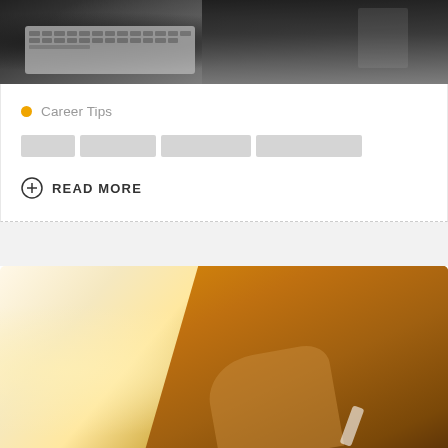[Figure (photo): Top portion of a photo showing a person working on a laptop, dark background, keyboard visible]
Career Tips
█████ ███████ ████████ █████████
READ MORE
[Figure (photo): Photo of a person with orange/yellow sweater writing or taking notes, bright light background]